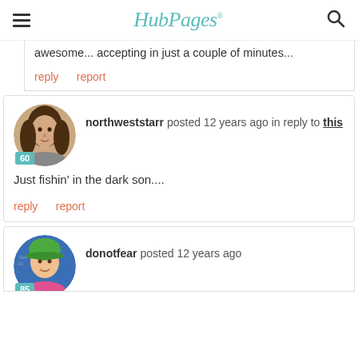HubPages
awesome... accepting in just a couple of minutes...
reply   report
northweststarr posted 12 years ago in reply to this
Just fishin' in the dark son....
reply   report
donotfear posted 12 years ago